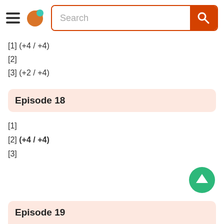[Figure (screenshot): Navigation header with hamburger menu, orange/teal logo, and search bar with orange border and search button]
[1] (+4 / +4)
[2]
[3] (+2 / +4)
Episode 18
[1]
[2] (+4 / +4)
[3]
Episode 19